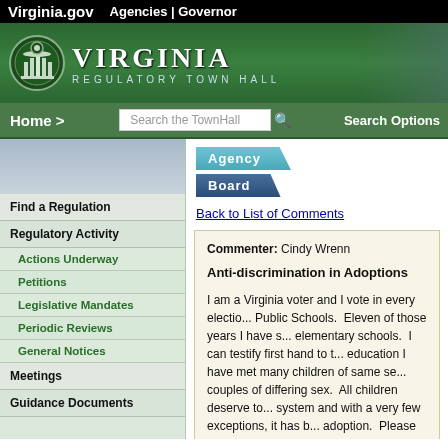Virginia.gov   Agencies | Governor
[Figure (screenshot): Virginia Regulatory Town Hall banner with green background, state emblem, and title text]
Home >   Search the TownHall   Search Options
Find a Regulation
Regulatory Activity
Actions Underway
Petitions
Legislative Mandates
Periodic Reviews
General Notices
Meetings
Guidance Documents
Agency
Board
Back to List of Comments
Commenter: Cindy Wrenn
Anti-discrimination in Adoptions
I am a Virginia voter and I vote in every election. Public Schools. Eleven of those years I have s... elementary schools. I can testify first hand to t... education I have met many children of same se... couples of differing sex. All children deserve to... system and with a very few exceptions, it has b... adoption. Please consider my statement and e... what their sex or they will be lost in the system... personal stories of children I have worked with... couples are in my experience loving, caring an... their right to adopt. I urge that a change be...